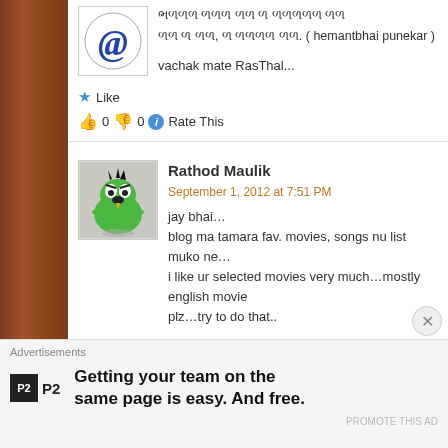[Figure (illustration): @ symbol avatar in blue circle, partially visible at top]
Gujarati text lines (partially visible at top)
vachak mate RasThal...
★ Like
👍 0 👎 0 ℹ Rate This
[Figure (illustration): Green cartoon monster/alien avatar used as commenter profile picture]
Rathod Maulik
September 1, 2012 at 7:51 PM
jay bhai...
blog ma tamara fav. movies, songs nu list muko ne...
i like ur selected movies very much...mostly english movie
plz...try to do that..
★ Like
👍 0 👎 0 ℹ Rate This
Advertisements
Getting your team on the same page is easy. And free.